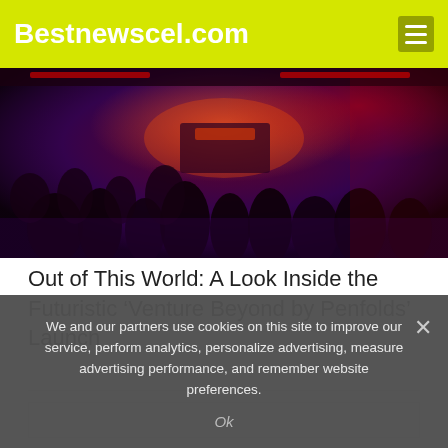Bestnewscel.com
[Figure (photo): Crowd of people at a nightclub or live event venue with purple/red lighting and a stage or DJ setup visible in the background]
Out of This World: A Look Inside the Futuristic ‘Venture Beyond by Penfolds’ Launch
We and our partners use cookies on this site to improve our service, perform analytics, personalize advertising, measure advertising performance, and remember website preferences.
Ok